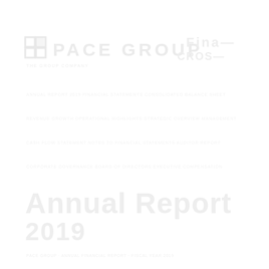[Figure (logo): PACE GROUP logo with icon and text, very faint white/light grey on white background. Top portion shows logo mark and company name 'PACE GROUP' with tagline text. Bottom portion shows large faint text.]